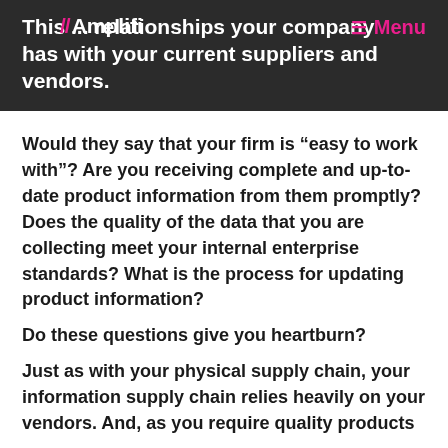This ... relationships your company has with your current suppliers and vendors.
Would they say that your firm is “easy to work with”? Are you receiving complete and up-to-date product information from them promptly? Does the quality of the data that you are collecting meet your internal enterprise standards? What is the process for updating product information?
Do these questions give you heartburn?
Just as with your physical supply chain, your information supply chain relies heavily on your vendors. And, as you require quality products